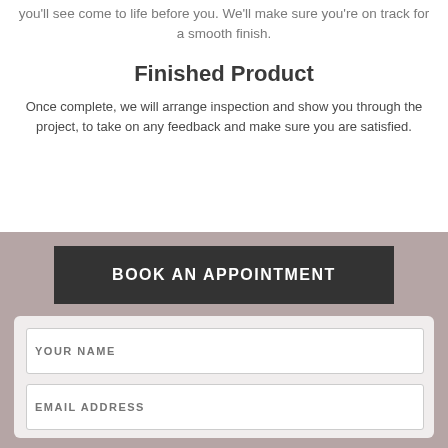you'll see come to life before you. We'll make sure you're on track for a smooth finish.
Finished Product
Once complete, we will arrange inspection and show you through the project, to take on any feedback and make sure you are satisfied.
BOOK AN APPOINTMENT
YOUR NAME
EMAIL ADDRESS